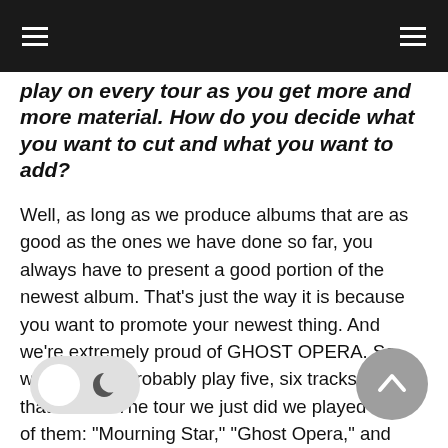play on every tour as you get more and more material. How do you decide what you want to cut and what you want to add?
Well, as long as we produce albums that are as good as the ones we have done so far, you always have to present a good portion of the newest album. That's just the way it is because you want to promote your newest thing. And we're extremely proud of GHOST OPERA. So we're gonna probably play five, six tracks off of that album. The tour we just did we played three of them: “Mourning Star,” “Ghost Opera,” and “The Human Stain,” and there’s gonna be three more. It’s impossible to satisfy everybody. There’s always somebody walking up to